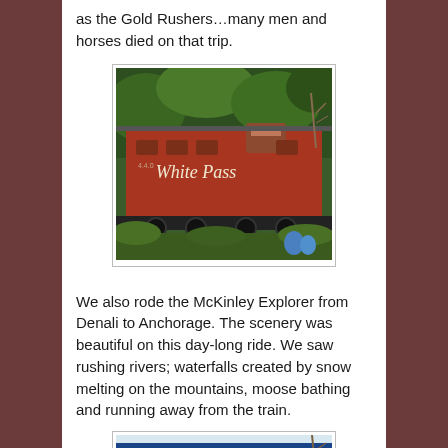as the Gold Rushers…many men and horses died on that trip.
[Figure (photo): A red caboose/train car with 'White Pass' written on its side in cursive, surrounded by green trees and foliage. Some blue objects visible in foreground.]
We also rode the McKinley Explorer from Denali to Anchorage.  The scenery was beautiful on this day-long ride.  We saw rushing rivers; waterfalls created by snow melting on the mountains, moose bathing and running away from the train.
[Figure (photo): Partial view of a train car with blue exterior and windows, with a bare tree branch visible on the right side.]